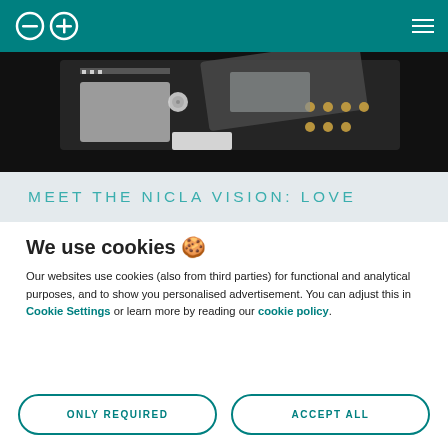Arduino logo and navigation menu
[Figure (photo): Close-up photo of Arduino Nicla Vision circuit board on dark background]
MEET THE NICLA VISION: LOVE
We use cookies 🍪
Our websites use cookies (also from third parties) for functional and analytical purposes, and to show you personalised advertisement. You can adjust this in Cookie Settings or learn more by reading our cookie policy.
ONLY REQUIRED
ACCEPT ALL